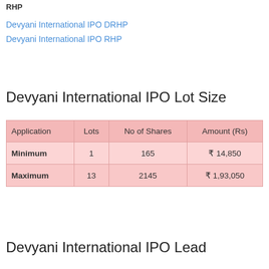RHP
Devyani International IPO DRHP
Devyani International IPO RHP
Devyani International IPO Lot Size
| Application | Lots | No of Shares | Amount (Rs) |
| --- | --- | --- | --- |
| Minimum | 1 | 165 | ₹ 14,850 |
| Maximum | 13 | 2145 | ₹ 1,93,050 |
Devyani International IPO Lead